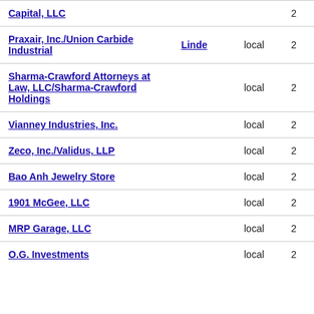| Name | Also Known As | Type | Count |
| --- | --- | --- | --- |
| Capital, LLC |  |  | 2 |
| Praxair, Inc./Union Carbide Industrial | Linde | local | 2 |
| Sharma-Crawford Attorneys at Law, LLC/Sharma-Crawford Holdings |  | local | 2 |
| Vianney Industries, Inc. |  | local | 2 |
| Zeco, Inc./Validus, LLP |  | local | 2 |
| Bao Anh Jewelry Store |  | local | 2 |
| 1901 McGee, LLC |  | local | 2 |
| MRP Garage, LLC |  | local | 2 |
| O.G. Investments |  | local | 2 |